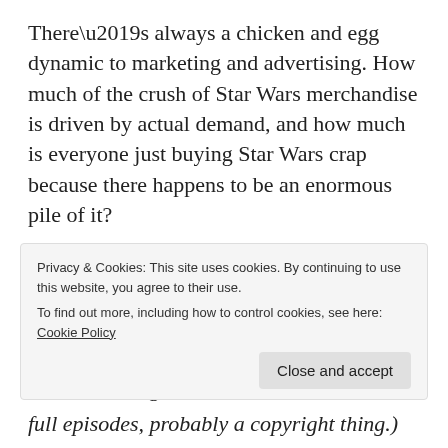There’s always a chicken and egg dynamic to marketing and advertising. How much of the crush of Star Wars merchandise is driven by actual demand, and how much is everyone just buying Star Wars crap because there happens to be an enormous pile of it?
There’s another thing that makes me uncomfortable: this notion that Star Wars somehow reflects my culture. Or as an acquaintance claimed this morning, “The Big [Bang Theory”…]
Privacy & Cookies: This site uses cookies. By continuing to use this website, you agree to their use.
To find out more, including how to control cookies, see here: Cookie Policy
Close and accept
full episodes, probably a copyright thing.)